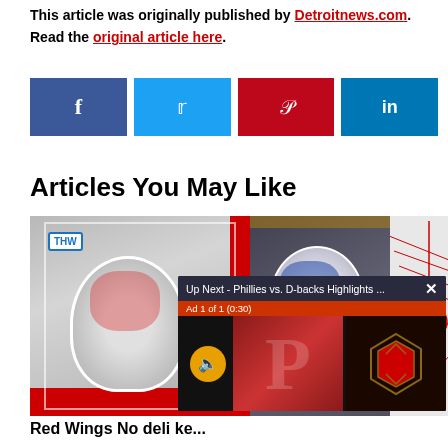This article was originally published by Detroitnews.com. Read the original article here.
[Figure (infographic): Social share buttons: Facebook (blue), Twitter (light blue), Pinterest (red), LinkedIn (dark blue)]
Articles You May Like
[Figure (screenshot): Two hockey goalie images side by side with a video overlay showing 'Up Next - Phillies vs. D-backs Highlights ...' with Ad 1 of 1 (0:30) and a mute button. Bottom label 'thehocke' visible on left image.]
Red Wings No deli ke...